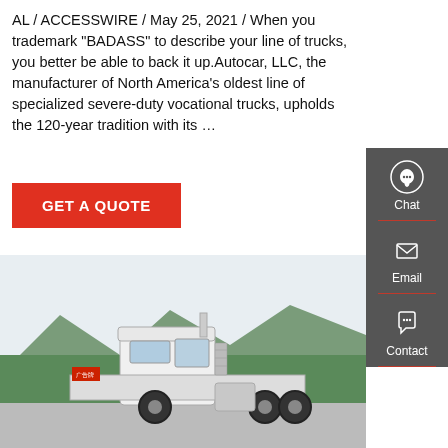AL / ACCESSWIRE / May 25, 2021 / When you trademark "BADASS" to describe your line of trucks, you better be able to back it up.Autocar, LLC, the manufacturer of North America's oldest line of specialized severe-duty vocational trucks, upholds the 120-year tradition with its …
[Figure (other): Red 'GET A QUOTE' button]
[Figure (other): Right-side dark gray sidebar with Chat (headset icon), Email (envelope icon), and Contact (speech bubble icon) buttons separated by red dividers]
[Figure (photo): A white heavy-duty semi-truck (6x4 tractor) parked on a lot with trees and mountains in the background]